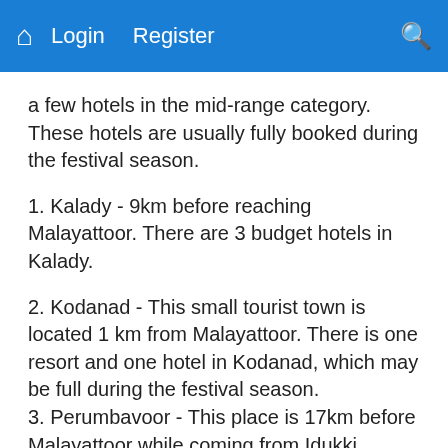Home  Login  Register  [search]
a few hotels in the mid-range category. These hotels are usually fully booked during the festival season.
1. Kalady - 9km before reaching Malayattoor. There are 3 budget hotels in Kalady.
2. Kodanad - This small tourist town is located 1 km from Malayattoor. There is one resort and one hotel in Kodanad, which may be full during the festival season.
3. Perumbavoor - This place is 17km before Malayattoor while coming from Idukki, Muvattupuzha, Kottayam side. There are few budget hotels in Perumbavoor.
4. Angamaly - This town is 16 km before reaching Malayattoor while coming from Thrissur, Coimbatore, Palakkad, Calicut, Mysore, Bangalore side.
5. Kochi International Airport - This place is about 13 km before reaching Malayattoor. There are several budget hotels and one hotel in the mid-range category. At this hotel